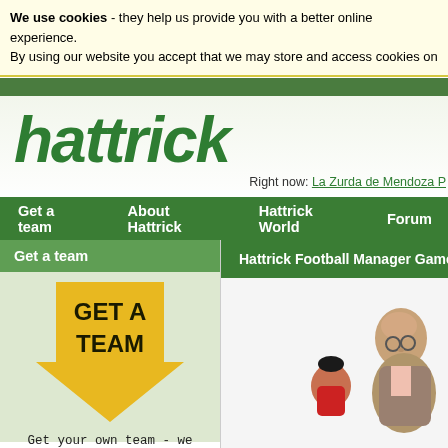We use cookies - they help us provide you with a better online experience. By using our website you accept that we may store and access cookies on
[Figure (logo): Hattrick logo - green italic bold text with yellow star]
Right now: La Zurda de Mendoza P
Get a team   About Hattrick   Hattrick World   Forum
Get a team
[Figure (illustration): Yellow arrow pointing down with GET A TEAM text inside]
Get your own team - we are always looking for new talent!
Sign up
Hattrick Football Manager Game
[Figure (illustration): Cartoon illustration of a football manager coaching players]